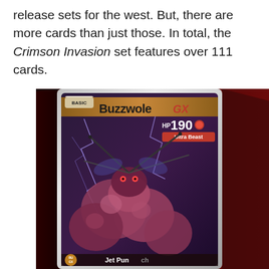release sets for the west. But, there are more cards than just those. In total, the Crimson Invasion set features over 111 cards.
[Figure (photo): A Buzzwole GX Pokémon trading card shown at an angle. The card reads BASIC, Buzzwole GX, HP 190, Ultra Beast, and shows the beginning of a move called Jet Punch. The card features an insect-like creature with large muscle-like appendages and lightning effects on a dark background.]